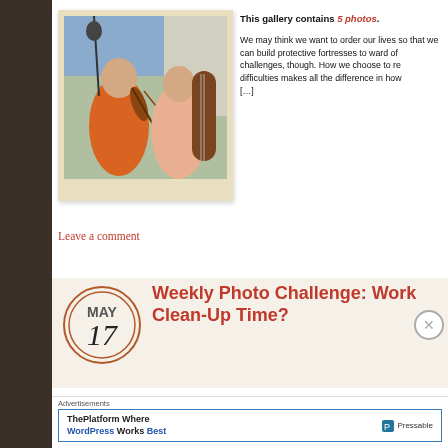[Figure (photo): Two musicians playing string instruments (violin and double bass) outdoors, polaroid-style framed photo]
This gallery contains 5 photos. We may think we want to order our lives so that we can build protective fortresses to ward off challenges, though. How we choose to respond to difficulties makes all the difference in how […]
Leave a comment
Weekly Photo Challenge: Work / Clean-Up Time?
MAY 17
Advertisements
[Figure (logo): ThePlatform Where WordPress Works Best — Pressable advertisement]